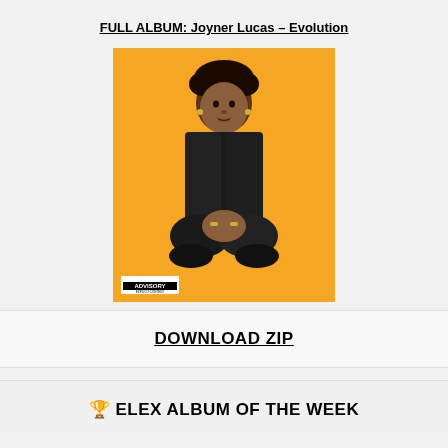FULL ALBUM: Joyner Lucas – Evolution
[Figure (illustration): Album cover art for Joyner Lucas – Evolution. A young person sitting cross-legged on an orange background wearing a dark patterned outfit with gold jewelry. Parental Advisory label in bottom left corner.]
DOWNLOAD ZIP
🏆 ELEX ALBUM OF THE WEEK